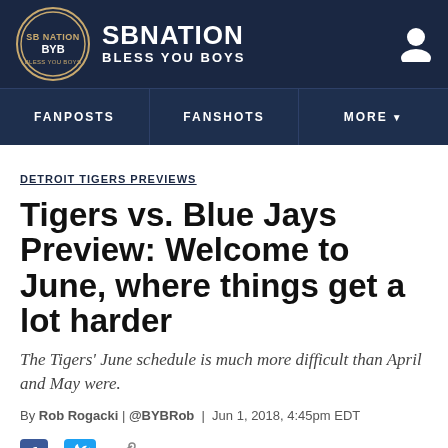SB NATION — BLESS YOU BOYS
FANPOSTS | FANSHOTS | MORE
DETROIT TIGERS PREVIEWS
Tigers vs. Blue Jays Preview: Welcome to June, where things get a lot harder
The Tigers' June schedule is much more difficult than April and May were.
By Rob Rogacki | @BYBRob | Jun 1, 2018, 4:45pm EDT